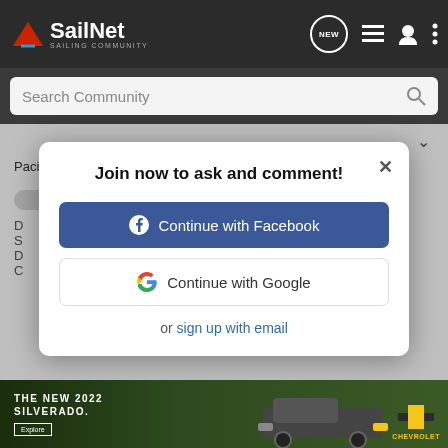[Figure (logo): SailNet sailing community logo with red triangle and white text]
Search Community
Pacific Seacraft Crealock 31 #62
Join now to ask and comment!
Continue with Facebook
Continue with Google
or sign up with email
[Figure (photo): Chevrolet Silverado 2022 advertisement banner with dark wooded background]